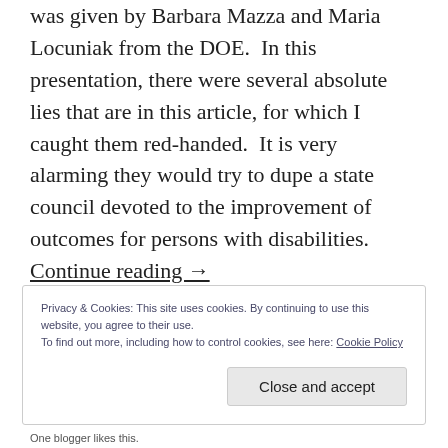was given by Barbara Mazza and Maria Locuniak from the DOE.  In this presentation, there were several absolute lies that are in this article, for which I caught them red-handed.  It is very alarming they would try to dupe a state council devoted to the improvement of outcomes for persons with disabilities.  Continue reading →
Privacy & Cookies: This site uses cookies. By continuing to use this website, you agree to their use.
To find out more, including how to control cookies, see here: Cookie Policy
Close and accept
One blogger likes this.